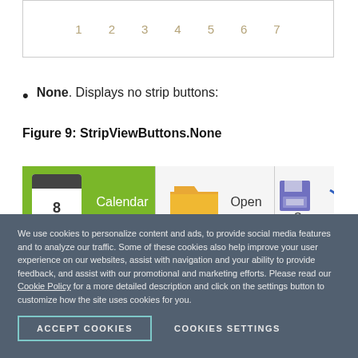[Figure (screenshot): A UI element showing a row of numbers 1 2 3 4 5 6 7 inside a bordered box, representing strip view buttons]
None. Displays no strip buttons:
Figure 9: StripViewButtons.None
[Figure (screenshot): A toolbar screenshot showing Calendar, Open, and Save buttons with icons on a green/white background]
We use cookies to personalize content and ads, to provide social media features and to analyze our traffic. Some of these cookies also help improve your user experience on our websites, assist with navigation and your ability to provide feedback, and assist with our promotional and marketing efforts. Please read our Cookie Policy for a more detailed description and click on the settings button to customize how the site uses cookies for you.
ACCEPT COOKIES
COOKIES SETTINGS